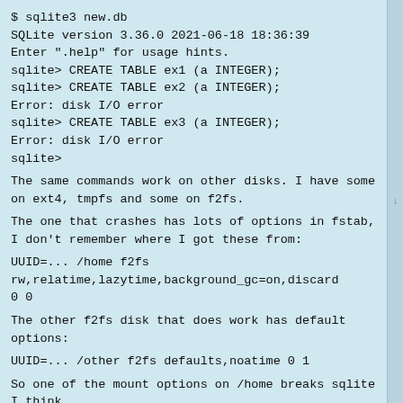$ sqlite3 new.db
SQLite version 3.36.0 2021-06-18 18:36:39
Enter ".help" for usage hints.
sqlite> CREATE TABLE ex1 (a INTEGER);
sqlite> CREATE TABLE ex2 (a INTEGER);
Error: disk I/O error
sqlite> CREATE TABLE ex3 (a INTEGER);
Error: disk I/O error
sqlite>
The same commands work on other disks. I have some on ext4, tmpfs and some on f2fs.
The one that crashes has lots of options in fstab, I don't remember where I got these from:
UUID=... /home f2fs
rw,relatime,lazytime,background_gc=on,discard
0 0
The other f2fs disk that does work has default options:
UUID=... /other f2fs defaults,noatime 0 1
So one of the mount options on /home breaks sqlite I think.
My OS is arch linux so I can't really track when I installed